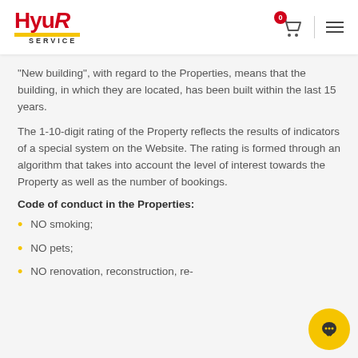Hyur Service — header with logo, cart (0), and menu
"New building", with regard to the Properties, means that the building, in which they are located, has been built within the last 15 years.
The 1-10-digit rating of the Property reflects the results of indicators of a special system on the Website. The rating is formed through an algorithm that takes into account the level of interest towards the Property as well as the number of bookings.
Code of conduct in the Properties:
NO smoking;
NO pets;
NO renovation, reconstruction, re-